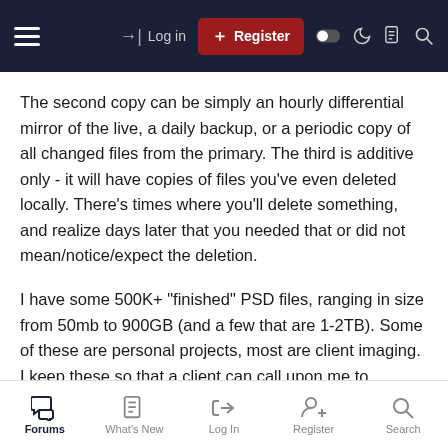Log in | Register
The second copy can be simply an hourly differential mirror of the live, a daily backup, or a periodic copy of all changed files from the primary. The third is additive only - it will have copies of files you've even deleted locally. There's times where you'll delete something, and realize days later that you needed that or did not mean/notice/expect the deletion.
I have some 500K+ "finished" PSD files, ranging in size from 50mb to 900GB (and a few that are 1-2TB). Some of these are personal projects, most are client imaging. I keep these so that a client can call upon me to retrieve a past file for a current campaign. These, to me, are "free money", as they've already been edited, approved, and known by the client. For my storing NEXT is all the way to closest possible...
Forums | What's New | Log In | Register | Search